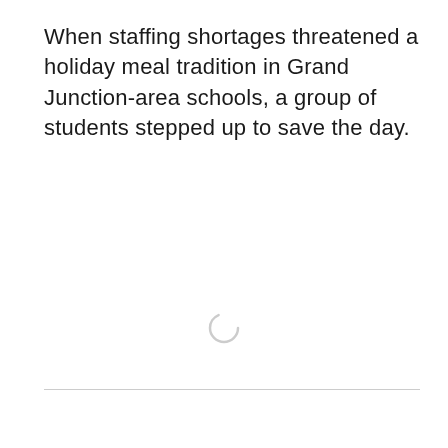When staffing shortages threatened a holiday meal tradition in Grand Junction-area schools, a group of students stepped up to save the day.
[Figure (other): A loading spinner icon (circular arc) centered on the page, indicating content is loading.]